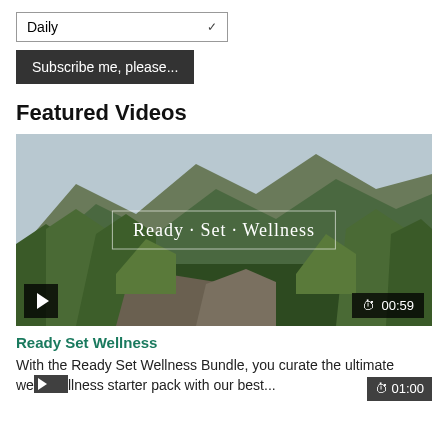[Figure (screenshot): Dropdown selector showing 'Daily' with a checkmark/arrow and a dark 'Subscribe me, please...' button below it]
Featured Videos
[Figure (screenshot): Video thumbnail showing a mountain landscape with green trees, with 'Ready · Set · Wellness' title text overlaid in a white-bordered box. Play button bottom-left, duration badge '00:59' bottom-right.]
Ready Set Wellness
With the Ready Set Wellness Bundle, you curate the ultimate wellness starter pack with our best...
[Figure (screenshot): Second video thumbnail partially visible, showing play button bottom-left and duration badge '01:00' bottom-right.]